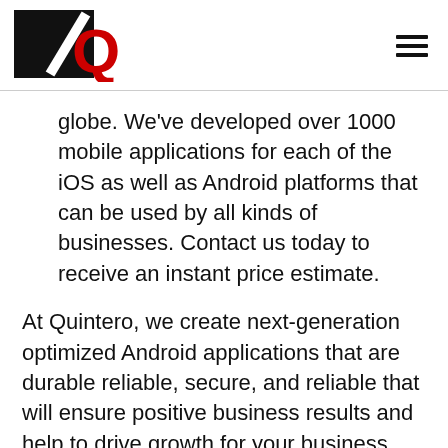[Figure (logo): Quintero logo: black rectangle with red letter Q and diagonal slash]
globe. We've developed over 1000 mobile applications for each of the iOS as well as Android platforms that can be used by all kinds of businesses. Contact us today to receive an instant price estimate.
At Quintero, we create next-generation optimized Android applications that are durable reliable, secure, and reliable that will ensure positive business results and help to drive growth for your business.
Quintero's full stack of Android app developers will